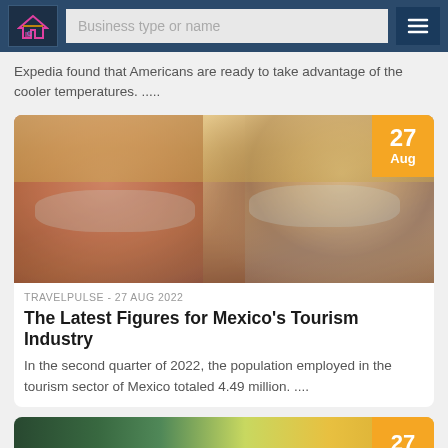Business type or name
Expedia found that Americans are ready to take advantage of the cooler temperatures. .....
[Figure (photo): Two people wearing face masks outdoors, looking at each other. A man with red beard and a woman with long dark hair, both wearing light blue surgical masks. Warm sunset light in background with buildings.]
TRAVELPULSE  -  27 AUG 2022
The Latest Figures for Mexico's Tourism Industry
In the second quarter of 2022, the population employed in the tourism sector of Mexico totaled 4.49 million. ....
[Figure (photo): Partial view of another article card with palm trees, partially visible at bottom of page. Date badge shows 27.]